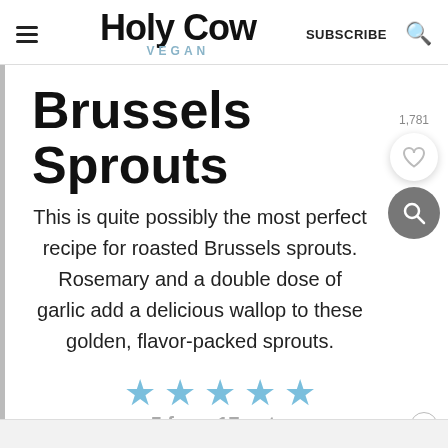Holy Cow Vegan — SUBSCRIBE
Brussels Sprouts
This is quite possibly the most perfect recipe for roasted Brussels sprouts. Rosemary and a double dose of garlic add a delicious wallop to these golden, flavor-packed sprouts.
5 from 17 votes